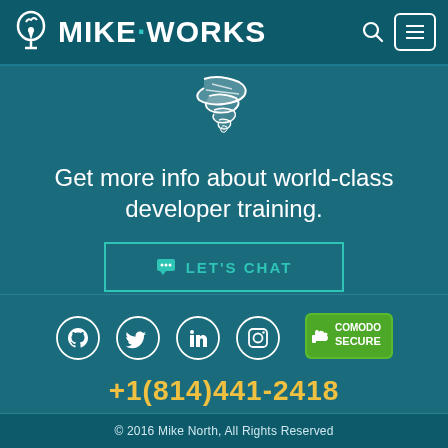MIKE·WORKS
[Figure (logo): Tornado/lightning bolt icon in white, partially visible at top of main content area]
Get more info about world-class developer training.
💬 LET'S CHAT
[Figure (infographic): Social media icons in circles: GitHub, Twitter, LinkedIn, Instagram; Comodo Secure badge on right]
+1(814)441-2418
© 2016 Mike North, All Rights Reserved